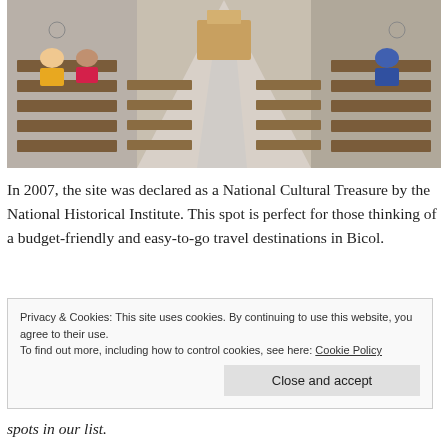[Figure (photo): Interior of a church with wooden pews on both sides of a central aisle, worshippers seated, ornate altar visible at the far end, white walls and high ceiling]
In 2007, the site was declared as a National Cultural Treasure by the National Historical Institute. This spot is perfect for those thinking of a budget-friendly and easy-to-go travel destinations in Bicol.
Privacy & Cookies: This site uses cookies. By continuing to use this website, you agree to their use. To find out more, including how to control cookies, see here: Cookie Policy
spots in our list.